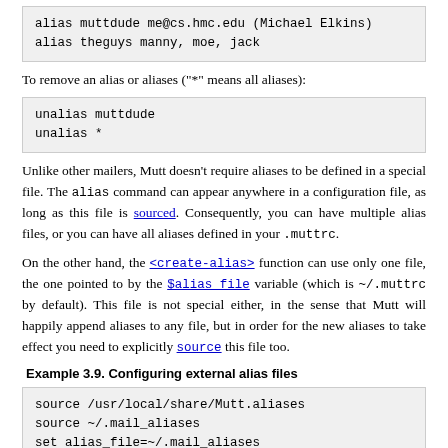alias muttdude me@cs.hmc.edu (Michael Elkins)
alias theguys manny, moe, jack
To remove an alias or aliases ("*" means all aliases):
unalias muttdude
unalias *
Unlike other mailers, Mutt doesn't require aliases to be defined in a special file. The alias command can appear anywhere in a configuration file, as long as this file is sourced. Consequently, you can have multiple alias files, or you can have all aliases defined in your .muttrc.
On the other hand, the <create-alias> function can use only one file, the one pointed to by the $alias_file variable (which is ~/.muttrc by default). This file is not special either, in the sense that Mutt will happily append aliases to any file, but in order for the new aliases to take effect you need to explicitly source this file too.
Example 3.9. Configuring external alias files
source /usr/local/share/Mutt.aliases
source ~/.mail_aliases
set alias_file=~/.mail_aliases